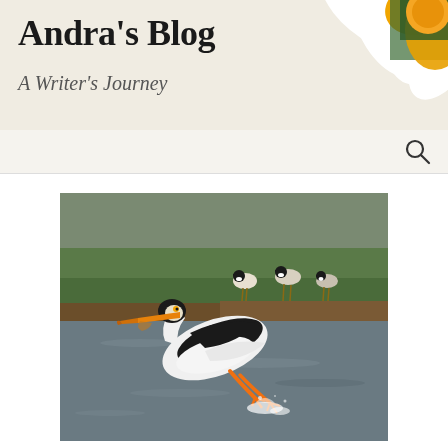[Figure (photo): Blog header background with white daisy flower and yellow/green center visible in the top-right corner]
Andra's Blog
A Writer's Journey
[Figure (photo): A white American pelican taking off from a body of water, wings spread showing black feathers, orange beak and feet, with Canada geese visible on the grassy bank in the background]